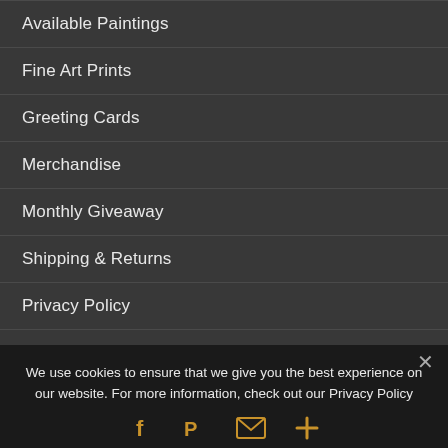Available Paintings
Fine Art Prints
Greeting Cards
Merchandise
Monthly Giveaway
Shipping & Returns
Privacy Policy
My Account
Cart
We use cookies to ensure that we give you the best experience on our website. For more information, check out our Privacy Policy
[Figure (infographic): Social sharing icons: Facebook (f), Pinterest (P), Email (envelope), More (+) — all in gold/amber color on dark background]